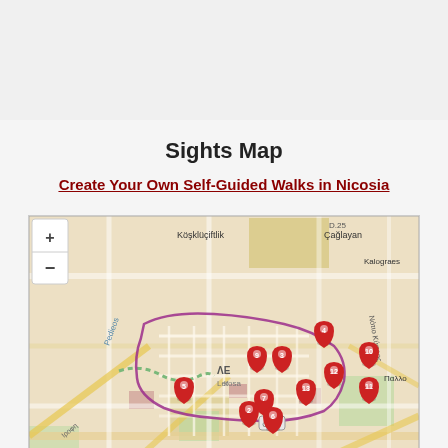Sights Map
Create Your Own Self-Guided Walks in Nicosia
[Figure (map): Interactive street map of Nicosia (Lefkosia/Lefkosa) showing numbered red location markers (2, 3, 4, 5, 6, 7, 9, 10, 11, 12, 13) placed around the city center. Map includes zoom controls (+/-), street names, and neighborhood labels including Koşklüçiftlik, Çağlayan, Kalograes, Παλλα, and roads U29, E165, D.25. A purple/pink boundary line traces the old city walls.]